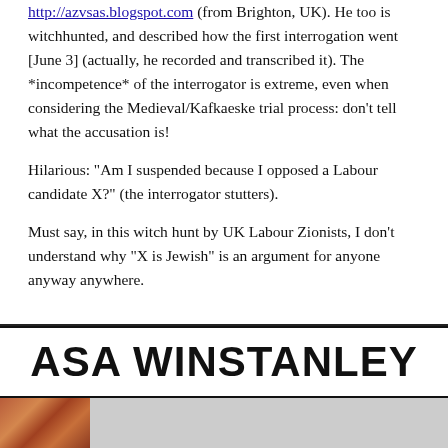http://azvsas.blogspot.com (from Brighton, UK). He too is witchhunted, and described how the first interrogation went [June 3] (actually, he recorded and transcribed it). The *incompetence* of the interrogator is extreme, even when considering the Medieval/Kafkaeske trial process: don't tell what the accusation is!
Hilarious: "Am I suspended because I opposed a Labour candidate X?" (the interrogator stutters).
Must say, in this witch hunt by UK Labour Zionists, I don't understand why "X is Jewish" is an argument for anyone anyway anywhere.
ASA WINSTANLEY
[Figure (photo): Partial photo strip visible at bottom of page]